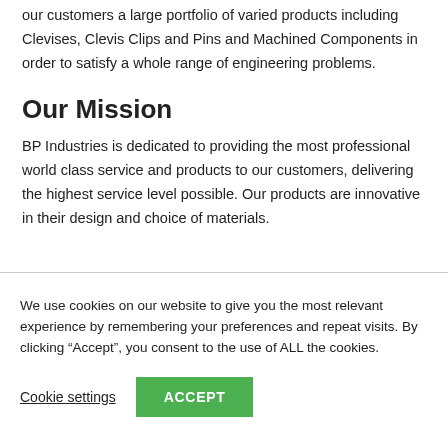our customers a large portfolio of varied products including Clevises, Clevis Clips and Pins and Machined Components in order to satisfy a whole range of engineering problems.
Our Mission
BP Industries is dedicated to providing the most professional world class service and products to our customers, delivering the highest service level possible. Our products are innovative in their design and choice of materials.
We use cookies on our website to give you the most relevant experience by remembering your preferences and repeat visits. By clicking “Accept”, you consent to the use of ALL the cookies.
Cookie settings  ACCEPT